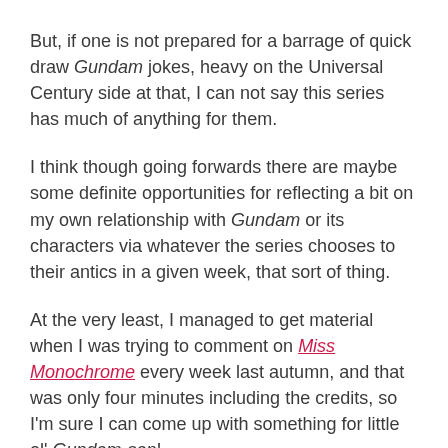But, if one is not prepared for a barrage of quick draw Gundam jokes, heavy on the Universal Century side at that, I can not say this series has much of anything for them.
I think though going forwards there are maybe some definite opportunities for reflecting a bit on my own relationship with Gundam or its characters via whatever the series chooses to their antics in a given week, that sort of thing.
At the very least, I managed to get material when I was trying to comment on Miss Monochrome every week last autumn, and that was only four minutes including the credits, so I'm sure I can come up with something for little ol' Gundam-san!